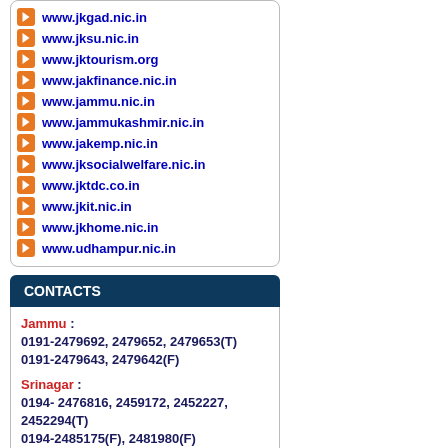www.jkgad.nic.in
www.jksu.nic.in
www.jktourism.org
www.jakfinance.nic.in
www.jammu.nic.in
www.jammukashmir.nic.in
www.jakemp.nic.in
www.jksocialwelfare.nic.in
www.jktdc.co.in
www.jkit.nic.in
www.jkhome.nic.in
www.udhampur.nic.in
CONTACTS
Jammu : 0191-2479692, 2479652, 2479653(T) 0191-2479643, 2479642(F)
Srinagar : 0194- 2476816, 2459172, 2452227, 2452294(T) 0194-2485175(F), 2481980(F)
JDI Jammu : 0191-2542762(T),2548165, 0191-2548388(F)
JDI S :